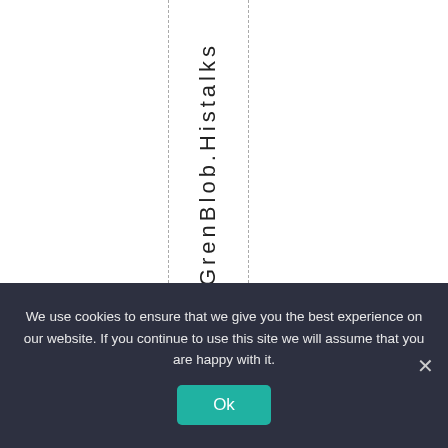GrenBlob.Histalks
We use cookies to ensure that we give you the best experience on our website. If you continue to use this site we will assume that you are happy with it.
Ok